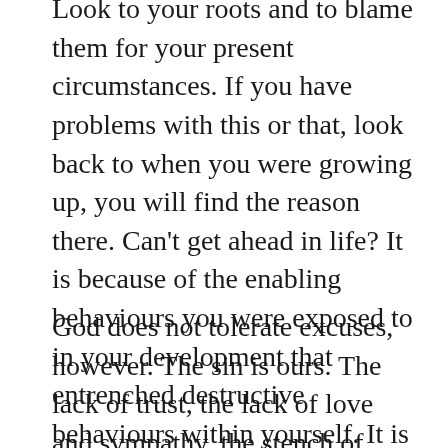Look to your roots and to blame them for your present circumstances. If you have problems with this or that, look back to when you were growing up, you will find the reason there. Can't get ahead in life? It is because of the enabling behaviours you were exposed to in your development that entrenched destructive behaviours within yourself. It is our current victim culture where no one ever actually looks for the reason, just another excuse.
God does not tolerate excuses, however. The sin is ours. The lack of trust, the lack of love and sympathy, the stench of apathy … that's on you